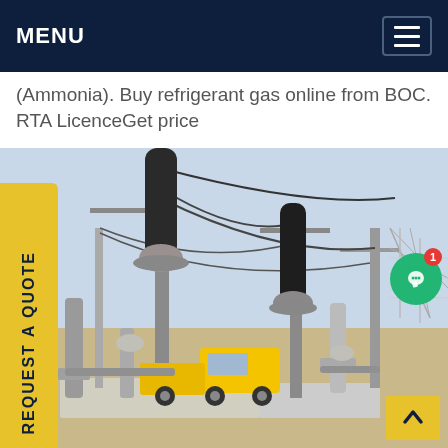MENU
(Ammonia). Buy refrigerant gas online from BOC. RTA LicenceGet price
[Figure (photo): Electrical substation with high-voltage equipment, insulators, overhead lines, and a yellow utility truck parked among the infrastructure]
REQUEST A QUOTE